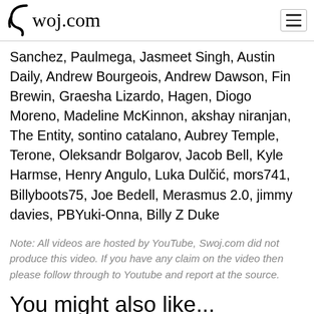swoj.com
Sanchez, Paulmega, Jasmeet Singh, Austin Daily, Andrew Bourgeois, Andrew Dawson, Fin Brewin, Graesha Lizardo, Hagen, Diogo Moreno, Madeline McKinnon, akshay niranjan, The Entity, sontino catalano, Aubrey Temple, Terone, Oleksandr Bolgarov, Jacob Bell, Kyle Harmse, Henry Angulo, Luka Dulčić, mors741, Billyboots75, Joe Bedell, Merasmus 2.0, jimmy davies, PBYuki-Onna, Billy Z Duke
Note: All videos are hosted by YouTube, Swoj.com did not produce this video. If you have any claim on the video then please follow through to Youtube and report at the source.
You might also like...
[Figure (screenshot): Thumbnail image showing 'QUINTESSENCE' with PBS logo on dark purple/cosmic background]
[Figure (screenshot): Thumbnail image showing a military/action scene with warm orange tones]